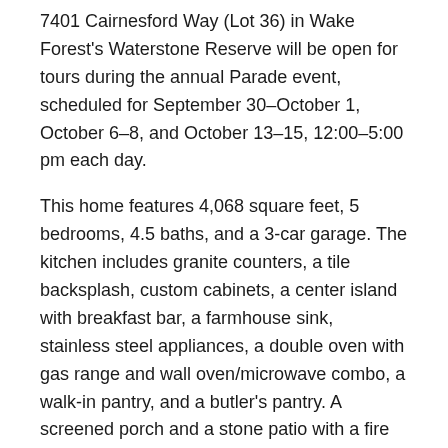7401 Cairnesford Way (Lot 36) in Wake Forest's Waterstone Reserve will be open for tours during the annual Parade event, scheduled for September 30–October 1, October 6–8, and October 13–15, 12:00–5:00 pm each day.
This home features 4,068 square feet, 5 bedrooms, 4.5 baths, and a 3-car garage. The kitchen includes granite counters, a tile backsplash, custom cabinets, a center island with breakfast bar, a farmhouse sink, stainless steel appliances, a double oven with gas range and wall oven/microwave combo, a walk-in pantry, and a butler's pantry. A screened porch and a stone patio with a fire pit provide wonderful outdoor living space.